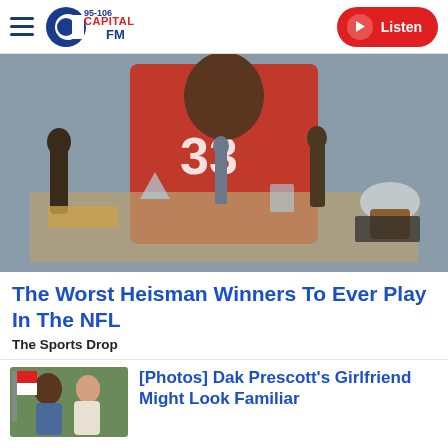95-106 Capital FM — Listen
[Figure (photo): A football player in a red Wisconsin jersey (#33) posing behind a table full of trophies and awards including Heisman-style statues, crystal pieces, and a silver football trophy.]
The Worst Heisman Winners To Ever Play In The NFL
The Sports Drop
[Figure (photo): Thumbnail image of two people outdoors with a flag in the background.]
[Photos] Dak Prescott's Girlfriend Might Look Familiar